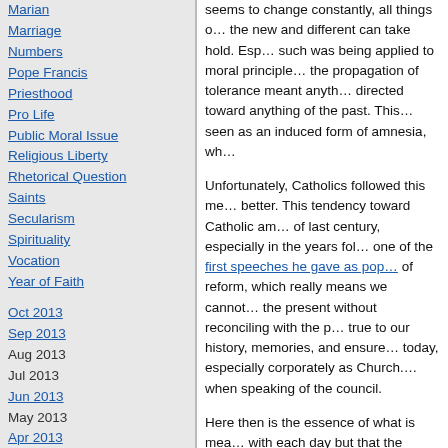Marian
Marriage
Numbers
Pope Francis
Priesthood
Pro Life
Public Moral Issue
Religious Liberty
Rhetorical Question
Saints
Secularism
Spirituality
Vocation
Year of Faith
Oct 2013
Sep 2013
Aug 2013
Jul 2013
Jun 2013
May 2013
Apr 2013
Mar 2013
Feb 2013
Jan 2013
Dec 2012
Nov 2012
Oct 2012
Sep 2012
Aug 2012
Jul 2012
Jun 2012
May 2012
seems to change constantly, all things of the new and different can take hold. Especially such was being applied to moral principles where the propagation of tolerance meant anything directed toward anything of the past. This was seen as an induced form of amnesia, wh...
Unfortunately, Catholics followed this me... better. This tendency toward Catholic am... of last century, especially in the years fol... one of the first speeches he gave as pop... of reform, which really means we cannot... the present without reconciling with the p... true to our history, memories, and ensure... today, especially corporately as Church. when speaking of the council.
Here then is the essence of what is mea... with each day but that the information of... secularists to have their way, they must e... remain focussed solely on the future, wh... adventure. But to do so is like inducing c... and start with a blank slate and recreate... they really are. As Bishop Fulton Sheen r... Labels (1931), "They are of the school th... free the camel of his hump and call him a... call him a giraffe; and never frame a pict... therefore a principle and a dogma."
So is the rejection of the past, our forgett... widespread disillusionment so many exp...